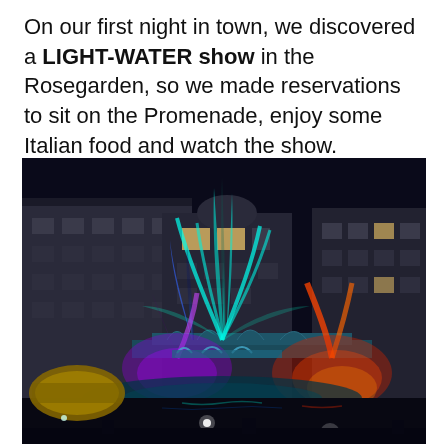On our first night in town, we discovered a LIGHT-WATER show in the Rosegarden, so we made reservations to sit on the Promenade, enjoy some Italian food and watch the show.
[Figure (photo): Night-time photo of a colorful light-water fountain show in the Rosegarden. Multiple water jets are illuminated in vivid blue, cyan/teal, purple, and red/orange colors against a dark sky. Historic multi-story buildings are visible in the background with lit windows. A yellow circular structure is visible on the lower left, and people are silhouetted at the bottom.]